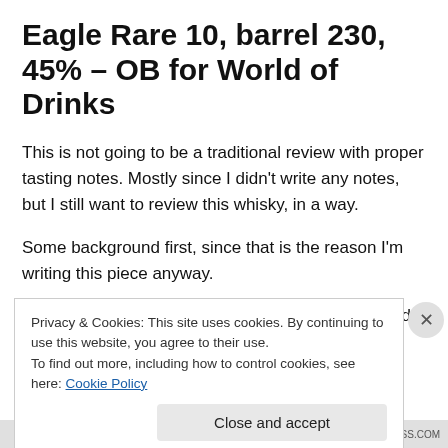Eagle Rare 10, barrel 230, 45% – OB for World of Drinks
This is not going to be a traditional review with proper tasting notes. Mostly since I didn't write any notes, but I still want to review this whisky, in a way.
Some background first, since that is the reason I'm writing this piece anyway.
Eagle Rare is a bourbon brand from Buffalo Trace distillery
Privacy & Cookies: This site uses cookies. By continuing to use this website, you agree to their use.
To find out more, including how to control cookies, see here: Cookie Policy
Close and accept